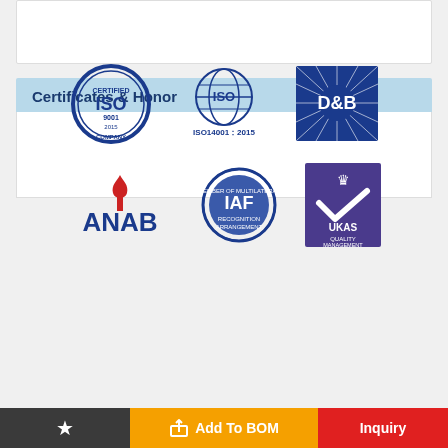Certificates & Honor
[Figure (logo): Six certification logos in two rows: ISO 9001-2015 certified company (circle badge), ISO14001:2015 (International Organization for Standardization globe badge), D&B (Dun & Bradstreet blue star burst badge), ANAB (blue text with torch flame), IAF Member of Multilateral Recognition Arrangement (circle badge), UKAS Quality Management (purple badge with crown)]
[Figure (photo): FPGA chip promotional banner with dark chip on circuit board on the left, blue background on the right with text 'Field-Programmable Gate Array' and a 'More Details' white button]
Add To BOM
Inquiry